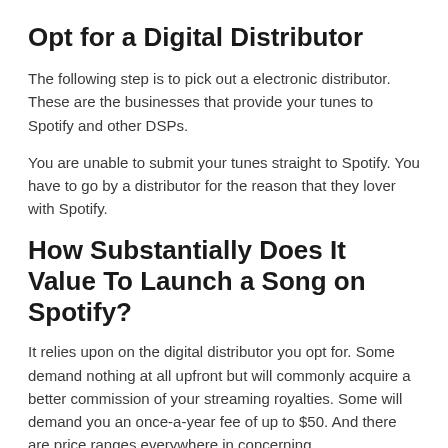Opt for a Digital Distributor
The following step is to pick out a electronic distributor. These are the businesses that provide your tunes to Spotify and other DSPs.
You are unable to submit your tunes straight to Spotify. You have to go by a distributor for the reason that they lover with Spotify.
How Substantially Does It Value To Launch a Song on Spotify?
It relies upon on the digital distributor you opt for. Some demand nothing at all upfront but will commonly acquire a better commission of your streaming royalties. Some will demand you an once-a-year fee of up to $50. And there are price ranges everywhere in concerning.
How Extended Does It Just take To Distribute Your Songs?